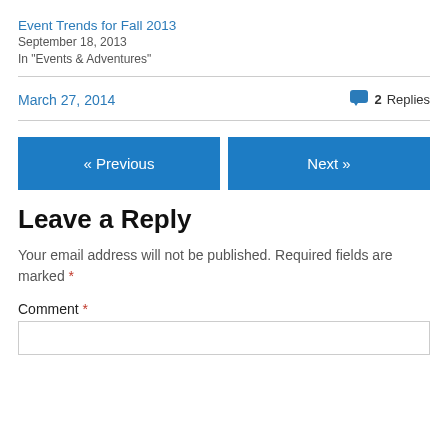Event Trends for Fall 2013
September 18, 2013
In "Events & Adventures"
March 27, 2014   💬 2 Replies
« Previous
Next »
Leave a Reply
Your email address will not be published. Required fields are marked *
Comment *